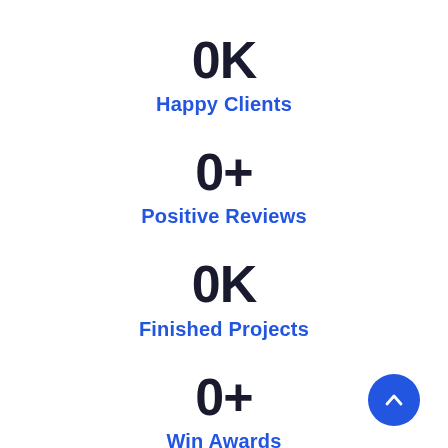0K
Happy Clients
0+
Positive Reviews
0K
Finished Projects
0+
Win Awards
[Figure (illustration): Blue circular button with upward chevron arrow icon, positioned at bottom right]